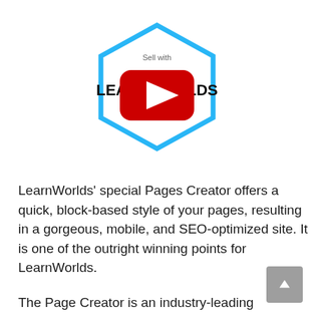[Figure (other): LearnWorlds logo in a hexagon shape with text 'Sell with LEARNWORLDS 6 unique reasons', overlaid with a red YouTube play button icon]
LearnWorlds' special Pages Creator offers a quick, block-based style of your pages, resulting in a gorgeous, mobile, and SEO-optimized site. It is one of the outright winning points for LearnWorlds.
The Page Creator is an industry-leading